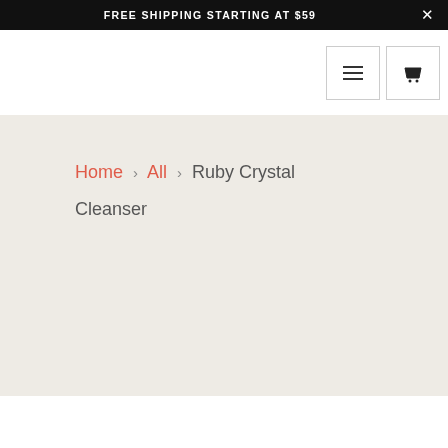FREE SHIPPING STARTING AT $59
Home > All > Ruby Crystal Cleanser